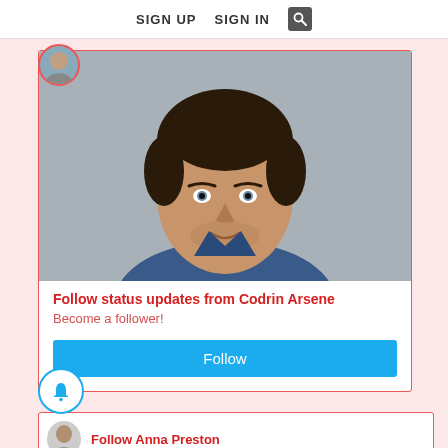SIGN UP   SIGN IN   [search]
[Figure (photo): Profile photo of Codrin Arsene — a man with short dark hair, light stubble, wearing a blue shirt, photographed against a grey background]
Follow status updates from Codrin Arsene
Become a follower!
Follow
Follow Anna Preston